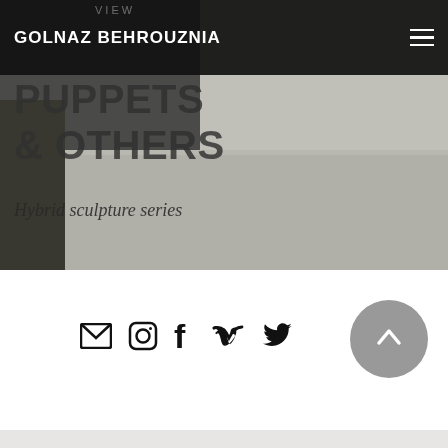GOLNAZ BEHROUZNIA
[Figure (photo): A photograph of a white/grey concrete or plaster block with a wire sculpture on top, displayed in what appears to be a gallery setting. The background is dark on the upper left and light on the right.]
PUPPETS & OTHERS
Hybrid sculpture series
[Figure (infographic): Row of social media icons: email/envelope, Instagram, Facebook, Vimeo, Twitter, and a grey circular back-to-top arrow button on the right]